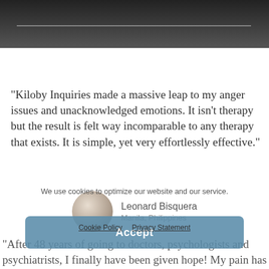[Figure (photo): Dark background image at top with a horizontal light/grey line]
"Kiloby Inquiries made a massive leap to my anger issues and unacknowledged emotions. It isn't therapy but the result is felt way incomparable to any therapy that exists. It is simple, yet very effortlessly effective."
[Figure (photo): Round avatar photo of Leonard Bisquera]
Leonard Bisquera
Manila, Philippines
We use cookies to optimize our website and our service.
Accept
Cookie Policy   Privacy Statement
"After 48 years of going to doctors, psychologists and psychiatrists, I finally have been given hope! My pain has diminished! I'm 78 years old – it is never too late to